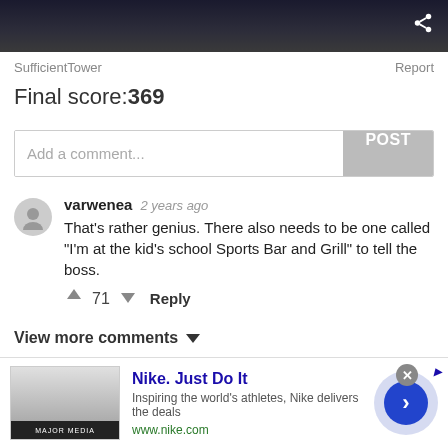[Figure (screenshot): Dark photograph of cars at night with a share icon in the top right corner]
SufficientTower    Report
Final score:369
Add a comment...  POST
varwenea  2 years ago
That's rather genius. There also needs to be one called "I'm at the kid's school Sports Bar and Grill" to tell the boss.
↑ 71 ↓  Reply
View more comments ˅
Note: this post originally had 104 images. It's been shortened to the top 30 images based on user votes.
[Figure (screenshot): Nike advertisement: Nike. Just Do It. Inspiring the world's athletes, Nike delivers the deals. www.nike.com]